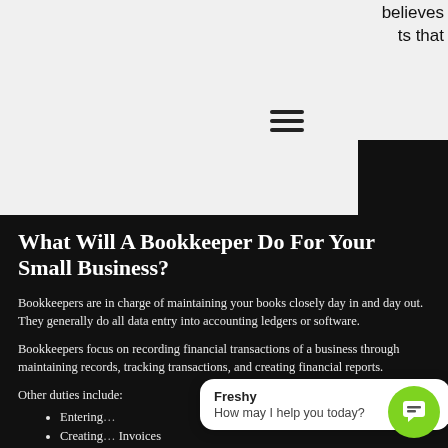believes
ts that
What Will A Bookkeeper Do For Your Small Business?
Bookkeepers are in charge of maintaining your books closely day in and day out. They generally do all data entry into accounting ledgers or software.
Bookkeepers focus on recording financial transactions of a business through maintaining records, tracking transactions, and creating financial reports.
Other duties include:
Entering…
Creating… Invoices
Collecting Past Due Accounts Receivable